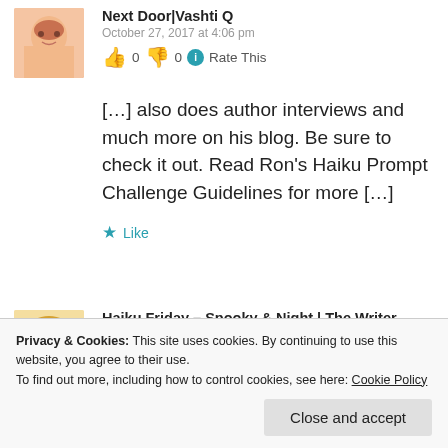Next Door|Vashti Q
October 27, 2017 at 4:06 pm
👍 0 👎 0 ℹ Rate This
[…] also does author interviews and much more on his blog. Be sure to check it out. Read Ron's Haiku Prompt Challenge Guidelines for more […]
Like
Haiku Friday – Spooky & Night | The Writer
Privacy & Cookies: This site uses cookies. By continuing to use this website, you agree to their use. To find out more, including how to control cookies, see here: Cookie Policy
Close and accept
much more on his blog. Be sure to